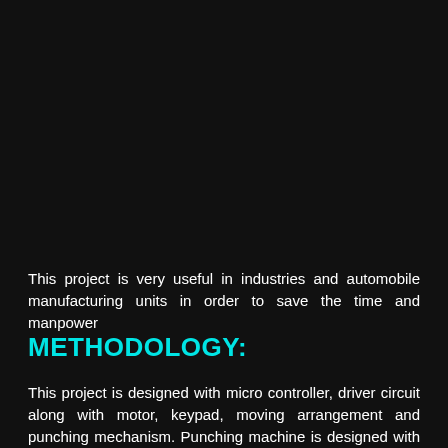This project is very useful in industries and automobile manufacturing units in order to save the time and manpower
METHODOLOGY:
This project is designed with micro controller, driver circuit along with motor, keypad, moving arrangement and punching mechanism. Punching machine is designed with mechanical arrangement in which movements are controlled by motors.